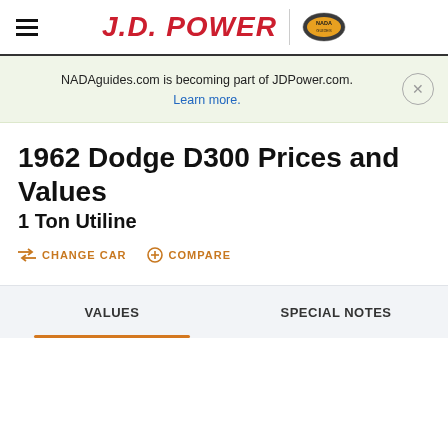J.D. POWER | NADA Guides
NADAguides.com is becoming part of JDPower.com. Learn more.
1962 Dodge D300 Prices and Values
1 Ton Utiline
CHANGE CAR   COMPARE
VALUES   SPECIAL NOTES